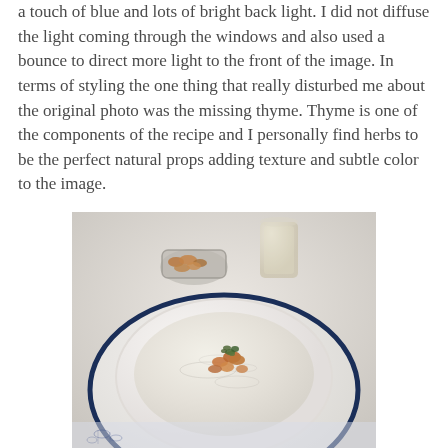a touch of blue and lots of bright back light. I did not diffuse the light coming through the windows and also used a bounce to direct more light to the front of the image. In terms of styling the one thing that really disturbed me about the original photo was the missing thyme. Thyme is one of the components of the recipe and I personally find herbs to be the perfect natural props adding texture and subtle color to the image.
[Figure (photo): A white bowl of creamy soup garnished with walnuts and fresh thyme, placed on a white plate with a blue rim. In the background, a small glass bowl of nuts and a glass of liquid are visible. The scene is styled on a light surface with a blue floral cloth.]